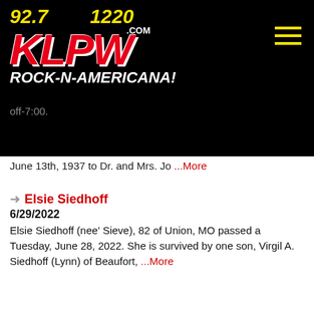[Figure (logo): KLPW radio station logo with frequencies 92.7 and 1220, tagline ROCK-N-AMERICANA! on black background]
off-7:00.
June 13th, 1937 to Dr. and Mrs. Jo ...More
Elsie Siedhoff
6/29/2022
Elsie Siedhoff (nee' Sieve), 82 of Union, MO passed a Tuesday, June 28, 2022. She is survived by one son, Virgil A. Siedhoff (Lynn) of Beaufort, ...More